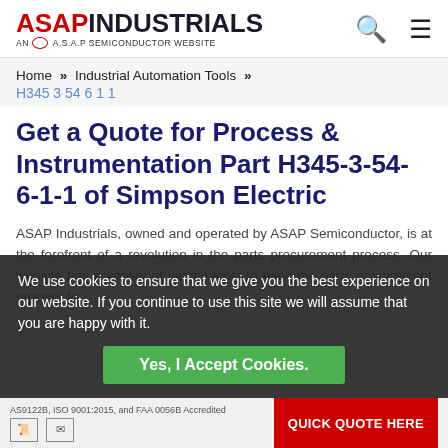[Figure (logo): ASAP Industrials logo - red ASAP text, dark INDUSTRIALS text, AN A.S.A.P SEMICONDUCTOR WEBSITE subtitle]
Home » Industrial Automation Tools »
H345 3 54 6 1 1
Get a Quote for Process & Instrumentation Part H345-3-54-6-1-1 of Simpson Electric
ASAP Industrials, owned and operated by ASAP Semiconductor, is at the forefront of a revolution in the parts procurement process. Our website has a variety of helpful tools to ease the parts procurement process for
We use cookies to ensure that we give you the best experience on our website. If you continue to use this site we will assume that you are happy with it.
Yes, I Accept Cookies.
AS9122B, ISO 9001:2015, and FAA 0056B Accredited
QUICK QUOTE HERE